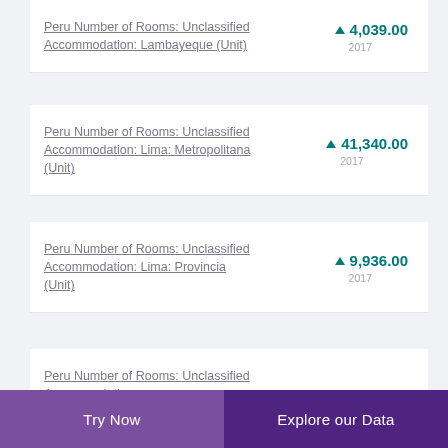Peru Number of Rooms: Unclassified Accommodation: Lambayeque (Unit)
Peru Number of Rooms: Unclassified Accommodation: Lima: Metropolitana (Unit)
Peru Number of Rooms: Unclassified Accommodation: Lima: Provincia (Unit)
Peru Number of Rooms: Unclassified Accommodation:
Try Now   Explore our Data